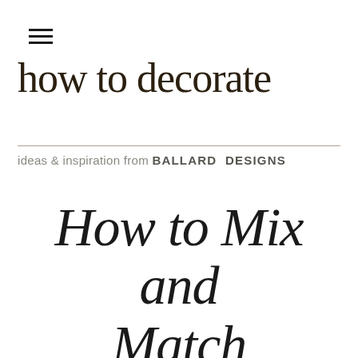≡
how to decorate
ideas & inspiration from BALLARD DESIGNS
How to Mix and Match Outdoor Furniture